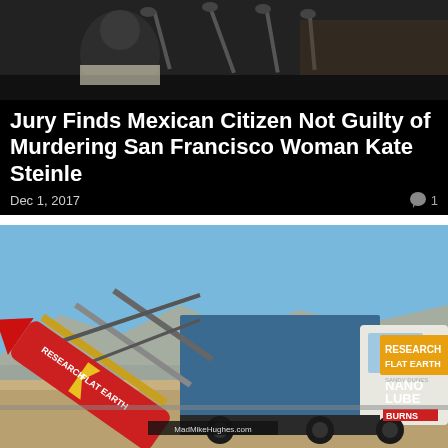[Figure (photo): Person at a desk with microphones in front, dark/blurred background, appears to be a press conference or hearing setting]
Jury Finds Mexican Citizen Not Guilty of Murdering San Francisco Woman Kate Steinle
Dec 1, 2017
[Figure (photo): A red rocket labeled 'RESEARCH FLAT EARTH' mounted on a launch ramp attached to a blue truck/vehicle with sponsorship logos including RESEARCH FLAT EARTH, NANO LUBE, and BURNS, with MadMikeHughes.com on the side, parked in a desert landscape under blue sky]